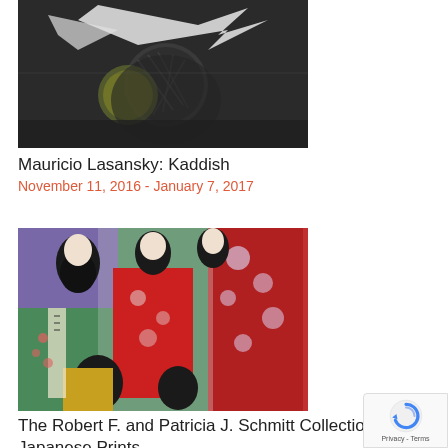[Figure (photo): A dark monochromatic artwork showing abstract forms, possibly a bird and circular shapes — part of Mauricio Lasansky's Kaddish series]
Mauricio Lasansky: Kaddish
November 11, 2016 - January 7, 2017
[Figure (photo): A colorful Japanese woodblock print showing elegantly dressed women (geisha/bijin) in ornate kimonos with floral and patterned designs]
The Robert F. and Patricia J. Schmitt Collection Japanese Prints